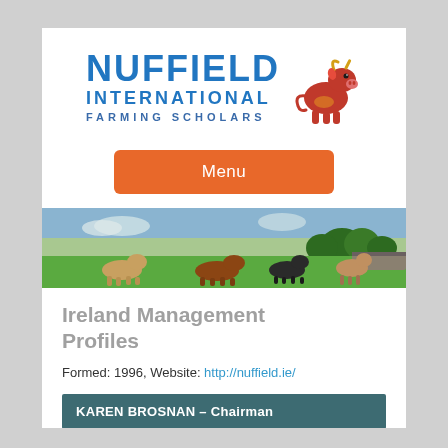[Figure (logo): Nuffield International Farming Scholars logo with stylized red bull mascot and blue text]
Menu
[Figure (photo): Banner photo of a green Irish farm field with cattle grazing under a partly cloudy sky]
Ireland Management Profiles
Formed: 1996, Website: http://nuffield.ie/
KAREN BROSNAN – Chairman